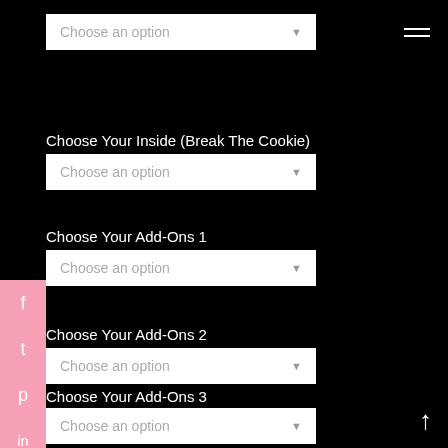Choose an option (dropdown 1)
Choose Your Inside (Break The Cookie)
Choose an option (dropdown 2)
Choose Your Add-Ons 1
Choose an option (dropdown 3)
Choose Your Add-Ons 2
Choose an option (dropdown 4)
Choose Your Add-Ons 3
Choose an option (dropdown 5)